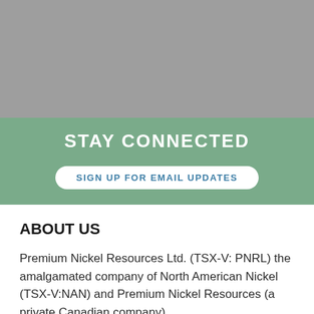[Figure (photo): Gray banner image at the top of the page]
STAY CONNECTED
SIGN UP FOR EMAIL UPDATES
ABOUT US
Premium Nickel Resources Ltd. (TSX-V: PNRL) the amalgamated company of North American Nickel (TSX-V:NAN) and Premium Nickel Resources (a private Canadian company).
Premium Nickel Resources Ltd. is a mineral exploration and development company focused on the discovery